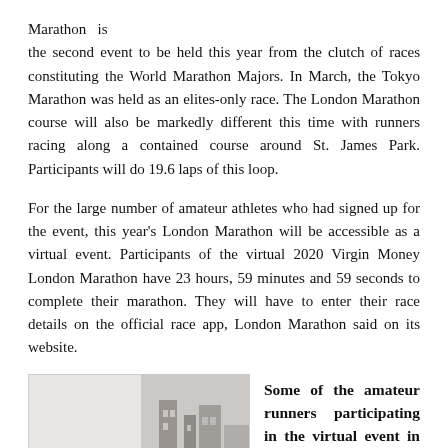Marathon  is the second event to be held this year from the clutch of races constituting the World Marathon Majors. In March, the Tokyo Marathon was held as an elites-only race. The London Marathon course will also be markedly different this time with runners racing along a contained course around St. James Park. Participants will do 19.6 laps of this loop.
For the large number of amateur athletes who had signed up for the event, this year's London Marathon will be accessible as a virtual event. Participants of the virtual 2020 Virgin Money London Marathon have 23 hours, 59 minutes and 59 seconds to complete their marathon. They will have to enter their race details on the official race app, London Marathon said on its website.
[Figure (photo): A photo of a building or ruins, partially visible, with a light grey background on the left side.]
Some of the amateur runners participating in the virtual event in India